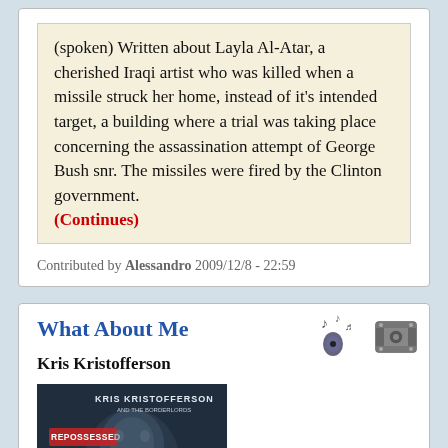(spoken) Written about Layla Al-Atar, a cherished Iraqi artist who was killed when a missile struck her home, instead of it's intended target, a building where a trial was taking place concerning the assassination attempt of George Bush snr. The missiles were fired by the Clinton government. (Continues)
Contributed by Alessandro 2009/12/8 - 22:59
What About Me
Kris Kristofferson
[Figure (photo): Album cover showing Kris Kristofferson and the Borderlords - Repossessed album. Dark image of a man's face with red text 'REPOSSESSED' stamp on the left and 'KRIS KRISTOFFERSON AND THE BORDERLORDS' text at top.]